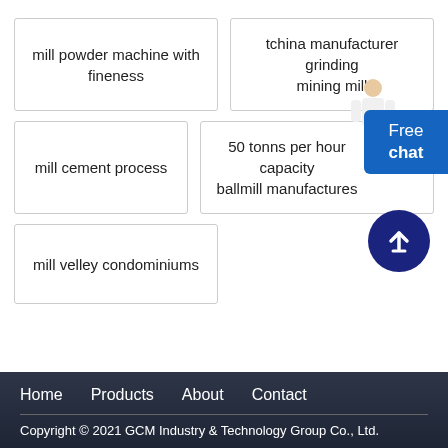mill powder machine with fineness
tchina manufacturer grinding mining mill
mill cement process
50 tonns per hour capacity ballmill manufactures
mill velley condominiums
Home   Products   About   Contact
Copyright © 2021 GCM Industry & Technology Group Co., Ltd.